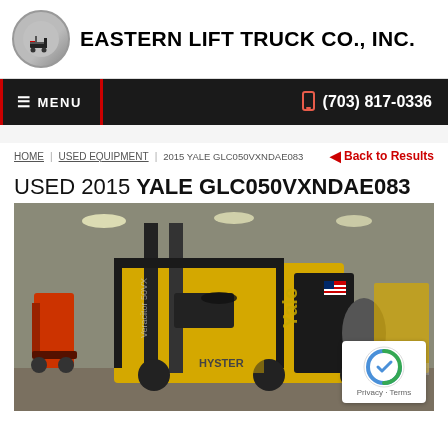Eastern Lift Truck Co., Inc.
MENU | (703) 817-0336
HOME | USED EQUIPMENT | 2015 YALE GLC050VXNDAE083 | Back to Results
USED 2015 YALE GLC050VXNDAE083
[Figure (photo): Yellow Yale GLC050VXNDAE083 forklift photographed inside a warehouse with multiple forklifts visible in the background, including a red forklift on the left and a Hyster forklift in the center.]